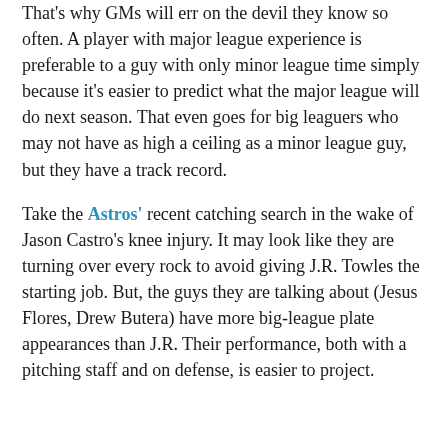That's why GMs will err on the devil they know so often. A player with major league experience is preferable to a guy with only minor league time simply because it's easier to predict what the major league will do next season. That even goes for big leaguers who may not have as high a ceiling as a minor league guy, but they have a track record.
Take the Astros' recent catching search in the wake of Jason Castro's knee injury. It may look like they are turning over every rock to avoid giving J.R. Towles the starting job. But, the guys they are talking about (Jesus Flores, Drew Butera) have more big-league plate appearances than J.R. Their performance, both with a pitching staff and on defense, is easier to project.